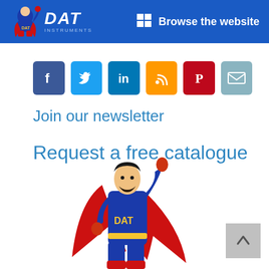[Figure (logo): DAT Instruments logo with superhero mascot and company name in white italic text on blue background header bar, with 'Browse the website' navigation link]
[Figure (infographic): Row of 6 social media icon buttons: Facebook (blue), Twitter (light blue), LinkedIn (dark blue), RSS (orange), Pinterest (red), Email (teal/grey)]
Join our newsletter
Request a free catalogue
[Figure (illustration): DAT Instruments superhero mascot - a cartoon superman figure in blue suit with red cape and 'DAT' text on chest, flying upward with fist raised]